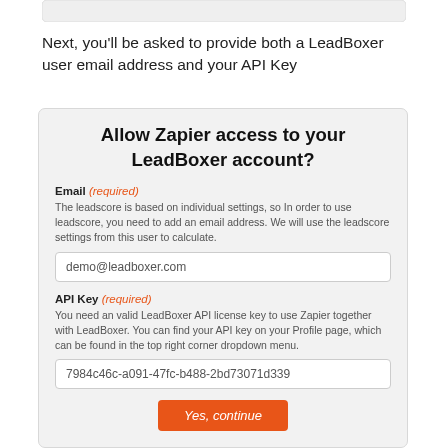[Figure (screenshot): Top portion of a UI card/panel showing a gray rounded rectangle at the top of the page.]
Next, you'll be asked to provide both a LeadBoxer user email address and your API Key
[Figure (screenshot): A UI card titled 'Allow Zapier access to your LeadBoxer account?' with Email (required) and API Key (required) fields filled with demo@leadboxer.com and 7984c46c-a091-47fc-b488-2bd73071d339 respectively, and a 'Yes, continue' orange button at the bottom.]